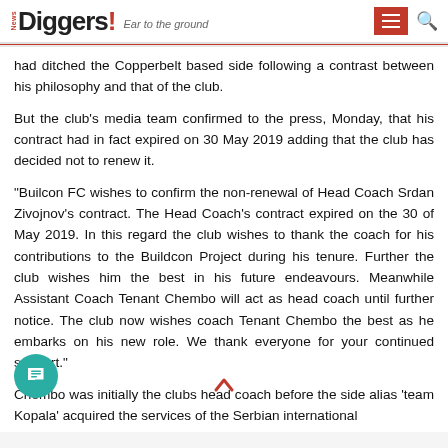News Diggers! Ear to the ground
had ditched the Copperbelt based side following a contrast between his philosophy and that of the club.
But the club's media team confirmed to the press, Monday, that his contract had in fact expired on 30 May 2019 adding that the club has decided not to renew it.
“Builcon FC wishes to confirm the non-renewal of Head Coach Srdan Zivojnov’s contract. The Head Coach’s contract expired on the 30 of May 2019. In this regard the club wishes to thank the coach for his contributions to the Buildcon Project during his tenure. Further the club wishes him the best in his future endeavours. Meanwhile Assistant Coach Tenant Chembo will act as head coach until further notice. The club now wishes coach Tenant Chembo the best as he embarks on his new role. We thank everyone for your continued support.”
Chembo was initially the clubs head coach before the side alias ‘team Kopala’ acquired the services of the Serbian international